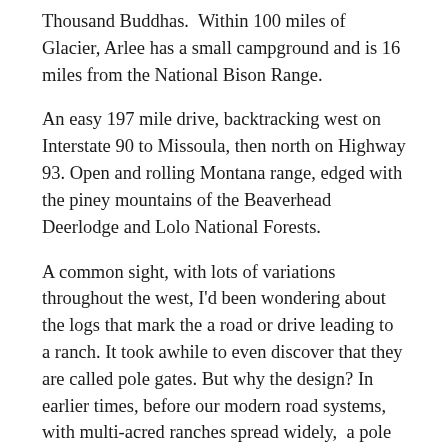Thousand Buddhas.  Within 100 miles of Glacier, Arlee has a small campground and is 16 miles from the National Bison Range.
An easy 197 mile drive, backtracking west on Interstate 90 to Missoula, then north on Highway 93. Open and rolling Montana range, edged with the piney mountains of the Beaverhead Deerlodge and Lolo National Forests.
A common sight, with lots of variations throughout the west, I'd been wondering about the logs that mark the a road or drive leading to a ranch. It took awhile to even discover that they are called pole gates. But why the design? In earlier times, before our modern road systems, with multi-acred ranches spread widely,  a pole gate could be seen from miles away on the uncluttered